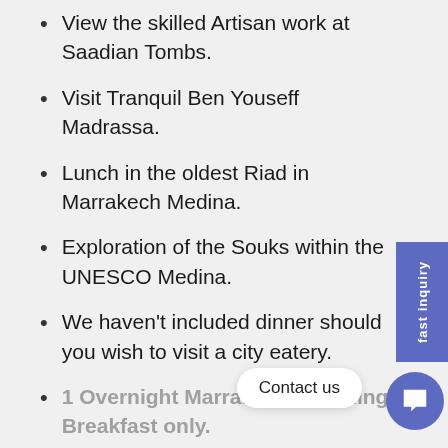View the skilled Artisan work at Saadian Tombs.
Visit Tranquil Ben Youseff Madrassa.
Lunch in the oldest Riad in Marrakech Medina.
Exploration of the Souks within the UNESCO Medina.
We haven't included dinner should you wish to visit a city eatery.
1 Overnight Marrakech Including Breakfast only.
end of the second day of your Sahara Desert … Marrakech.